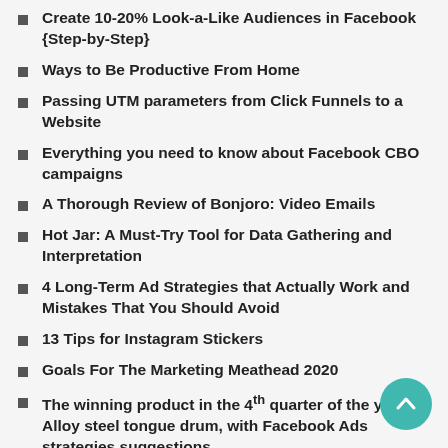Create 10-20% Look-a-Like Audiences in Facebook {Step-by-Step}
Ways to Be Productive From Home
Passing UTM parameters from Click Funnels to a Website
Everything you need to know about Facebook CBO campaigns
A Thorough Review of Bonjoro: Video Emails
Hot Jar: A Must-Try Tool for Data Gathering and Interpretation
4 Long-Term Ad Strategies that Actually Work and Mistakes That You Should Avoid
13 Tips for Instagram Stickers
Goals For The Marketing Meathead 2020
The winning product in the 4th quarter of the year: Alloy steel tongue drum, with Facebook Ads strategies suggestions
How to Grow Your Competitors' Facebook...